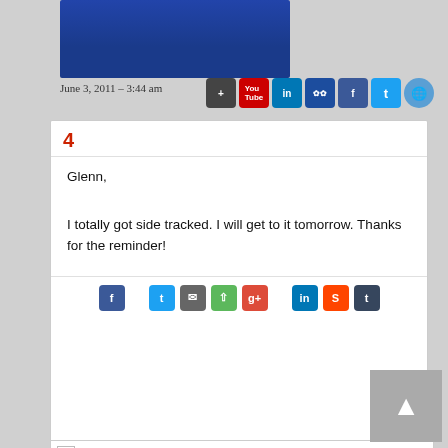[Figure (photo): Person wearing a dark blue t-shirt, partial upper body visible, cropped at the neck]
June 3, 2011 – 3:44 am
[Figure (infographic): Row of social media share icons: Google+, YouTube, LinkedIn, MySpace, Facebook, Twitter, Globe/Website]
4
Glenn,

I totally got side tracked. I will get to it tomorrow. Thanks for the reminder!
[Figure (infographic): Row of social share icons: Facebook, Twitter, Email, ShareThis, Google+, LinkedIn, StumbleUpon, Tumblr]
[Figure (photo): Broken image placeholder icon]